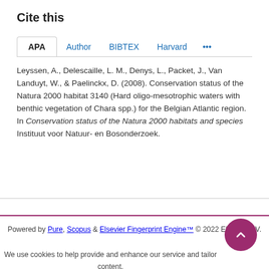Cite this
APA  Author  BIBTEX  Harvard  ...
Leyssen, A., Delescaille, L. M., Denys, L., Packet, J., Van Landuyt, W., & Paelinckx, D. (2008). Conservation status of the Natura 2000 habitat 3140 (Hard oligo-mesotrophic waters with benthic vegetation of Chara spp.) for the Belgian Atlantic region. In Conservation status of the Natura 2000 habitats and species Instituut voor Natuur- en Bosonderzoek.
Powered by Pure, Scopus & Elsevier Fingerprint Engine™ © 2022 Elsevier B.V.
We use cookies to help provide and enhance our service and tailor content. By continuing you agree to the use of cookies